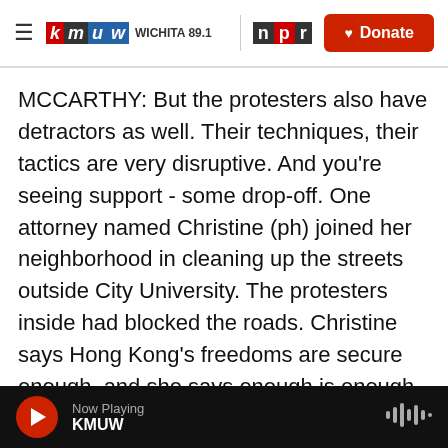KMUW Wichita 89.1 | NPR | Donate
MCCARTHY: But the protesters also have detractors as well. Their techniques, their tactics are very disruptive. And you're seeing support - some drop-off. One attorney named Christine (ph) joined her neighborhood in cleaning up the streets outside City University. The protesters inside had blocked the roads. Christine says Hong Kong's freedoms are secure enough, and she says enough is enough.
CHRISTINE: We want peace and order. You cannot take away somebody's right just because of your own desire. OK? Your own desire can
Now Playing KMUW